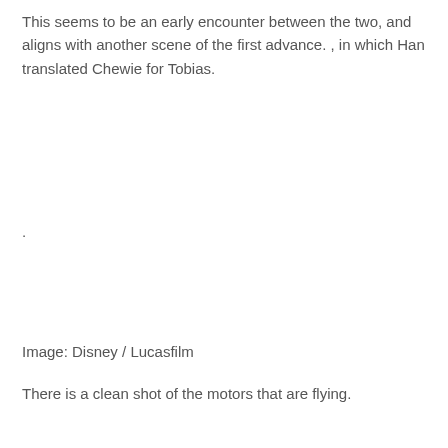This seems to be an early encounter between the two, and aligns with another scene of the first advance. , in which Han translated Chewie for Tobias.
.
Image: Disney / Lucasfilm
There is a clean shot of the motors that are flying.
.